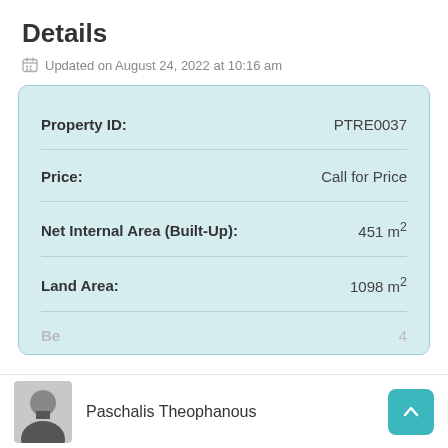Details
Updated on August 24, 2022 at 10:16 am
| Property | Value |
| --- | --- |
| Property ID: | PTRE0037 |
| Price: | Call for Price |
| Net Internal Area (Built-Up): | 451 m² |
| Land Area: | 1098 m² |
Paschalis Theophanous